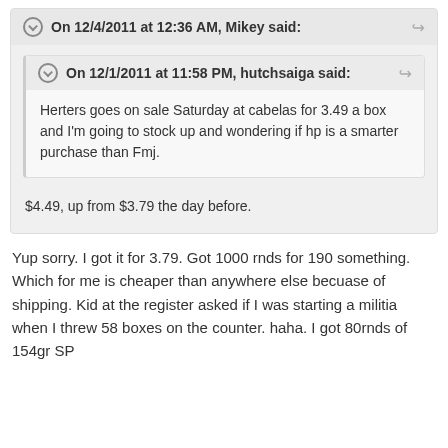On 12/4/2011 at 12:36 AM, Mikey said:
On 12/1/2011 at 11:58 PM, hutchsaiga said:
Herters goes on sale Saturday at cabelas for 3.49 a box and I'm going to stock up and wondering if hp is a smarter purchase than Fmj.
$4.49, up from $3.79 the day before.
Yup sorry. I got it for 3.79. Got 1000 rnds for 190 something. Which for me is cheaper than anywhere else becuase of shipping. Kid at the register asked if I was starting a militia when I threw 58 boxes on the counter. haha. I got 80rnds of 154gr SP